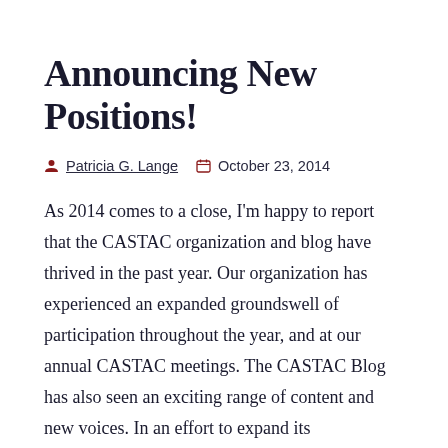Announcing New Positions!
Patricia G. Lange   October 23, 2014
As 2014 comes to a close, I'm happy to report that the CASTAC organization and blog have thrived in the past year. Our organization has experienced an expanded groundswell of participation throughout the year, and at our annual CASTAC meetings. The CASTAC Blog has also seen an exciting range of content and new voices. In an effort to expand its organization and leadership, CASTAC is now seeking an Outreach Manager who will be responsible for promoting the CASTAC organization and working with the blog team. The CASTAC Blog is also inviting applications for